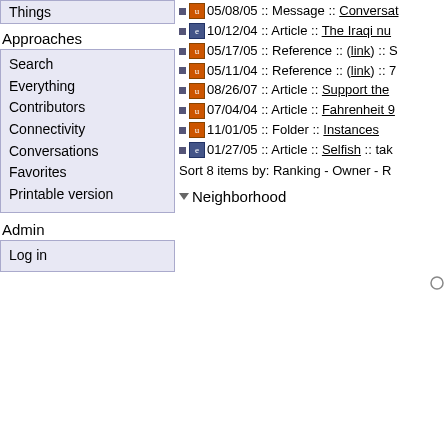Things
Approaches
Search
Everything
Contributors
Connectivity
Conversations
Favorites
Printable version
Admin
Log in
05/08/05 :: Message :: Conversat...
10/12/04 :: Article :: The Iraqi nu...
05/17/05 :: Reference :: (link) :: S...
05/11/04 :: Reference :: (link) :: 7...
08/26/07 :: Article :: Support the...
07/04/04 :: Article :: Fahrenheit 9...
11/01/05 :: Folder :: Instances
01/27/05 :: Article :: Selfish :: tak...
Sort 8 items by: Ranking - Owner - ...
Neighborhood